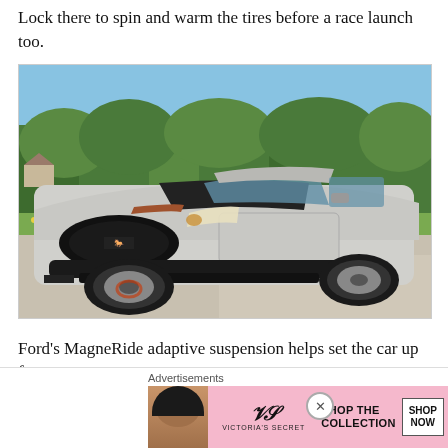Lock there to spin and warm the tires before a race launch too.
[Figure (photo): A silver/gray Ford Mustang Mach 1 with black hood stripes and copper accents, photographed at three-quarter front angle on a gravel area with green trees and yellow wildflowers in background.]
Ford’s MagneRide adaptive suspension helps set the car up fo…
Advertisements
[Figure (infographic): Victoria's Secret advertisement banner showing a woman's face on the left, VS logo in center, and 'SHOP THE COLLECTION' text with 'SHOP NOW' button on the right, pink background.]